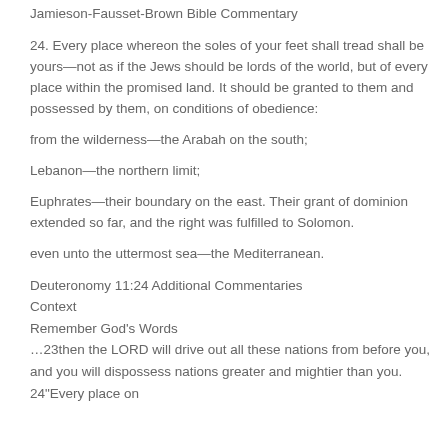Jamieson-Fausset-Brown Bible Commentary
24. Every place whereon the soles of your feet shall tread shall be yours—not as if the Jews should be lords of the world, but of every place within the promised land. It should be granted to them and possessed by them, on conditions of obedience:
from the wilderness—the Arabah on the south;
Lebanon—the northern limit;
Euphrates—their boundary on the east. Their grant of dominion extended so far, and the right was fulfilled to Solomon.
even unto the uttermost sea—the Mediterranean.
Deuteronomy 11:24 Additional Commentaries
Context
Remember God's Words
…23then the LORD will drive out all these nations from before you, and you will dispossess nations greater and mightier than you. 24"Every place on